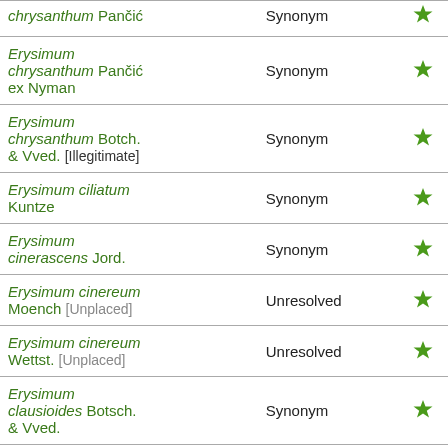| Name | Status |  |
| --- | --- | --- |
| chrysanthum Pančić | Synonym | ★ |
| Erysimum chrysanthum Pančić ex Nyman | Synonym | ★ |
| Erysimum chrysanthum Botch. & Vved. [Illegitimate] | Synonym | ★ |
| Erysimum ciliatum Kuntze | Synonym | ★ |
| Erysimum cinerascens Jord. | Synonym | ★ |
| Erysimum cinereum Moench [Unplaced] | Unresolved | ★ |
| Erysimum cinereum Wettst. [Unplaced] | Unresolved | ★ |
| Erysimum clausioides Botsch. & Vved. | Synonym | ★ |
| Erysimum clavatum Walp. | Synonym | ★ |
| Erysimum … |  |  |